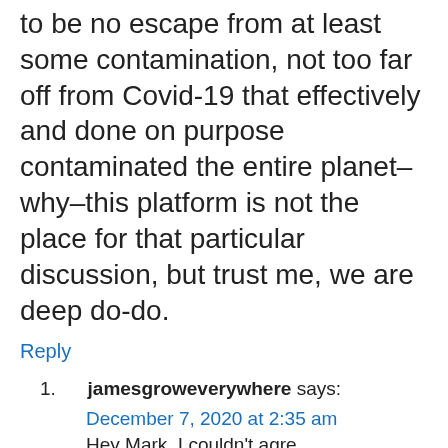to be no escape from at least some contamination, not too far off from Covid-19 that effectively and done on purpose contaminated the entire planet–why–this platform is not the place for that particular discussion, but trust me, we are deep do-do.
Reply
1. jamesgroweverywhere says:
December 7, 2020 at 2:35 am
Hey Mark, I couldn't agree…